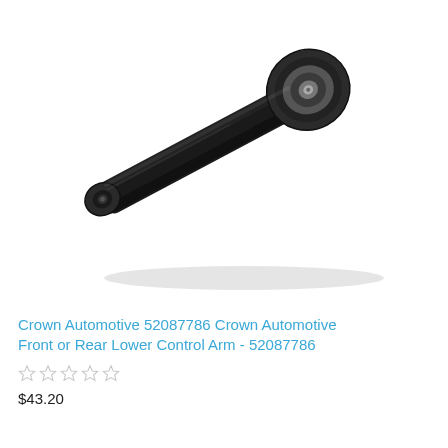[Figure (photo): Black metal automotive lower control arm part with rubber bushing on one end and a smaller mount on the other end, photographed on white background.]
Crown Automotive 52087786 Crown Automotive Front or Rear Lower Control Arm - 52087786
☆☆☆☆☆
$43.20